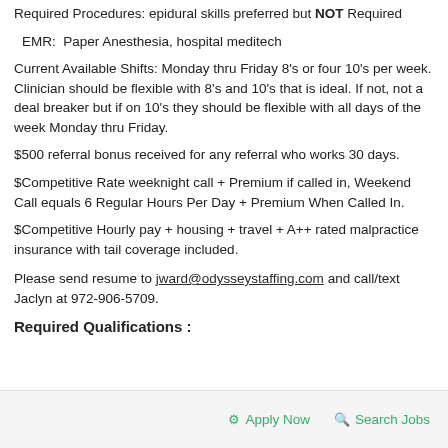Required Procedures: epidural skills preferred but NOT Required
EMR:  Paper Anesthesia, hospital meditech
Current Available Shifts: Monday thru Friday 8's or four 10's per week. Clinician should be flexible with 8's and 10's that is ideal. If not, not a deal breaker but if on 10's they should be flexible with all days of the week Monday thru Friday.
$500 referral bonus received for any referral who works 30 days.
$Competitive Rate weeknight call + Premium if called in, Weekend Call equals 6 Regular Hours Per Day + Premium When Called In.
$Competitive Hourly pay + housing + travel + A++ rated malpractice insurance with tail coverage included.
Please send resume to jward@odysseystaffing.com and call/text Jaclyn at 972-906-5709.
Required Qualifications :
Apply Now   Search Jobs